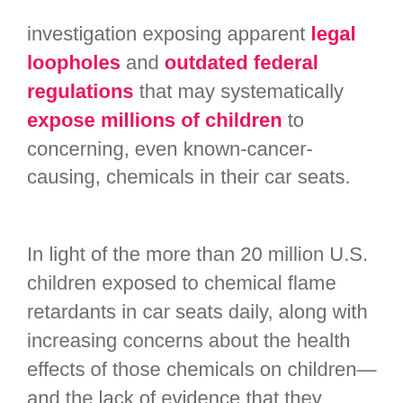investigation exposing apparent legal loopholes and outdated federal regulations that may systematically expose millions of children to concerning, even known-cancer-causing, chemicals in their car seats.

In light of the more than 20 million U.S. children exposed to chemical flame retardants in car seats daily, along with increasing concerns about the health effects of those chemicals on children—and the lack of evidence that they provide a significant safety benefit in a car seat—many believe it is incumbent upon NHTSA and Congress to accelerate research into an alternative flammability standard